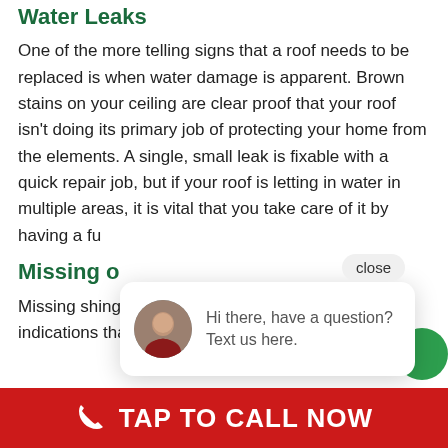Water Leaks
One of the more telling signs that a roof needs to be replaced is when water damage is apparent. Brown stains on your ceiling are clear proof that your roof isn't doing its primary job of protecting your home from the elements. A single, small leak is fixable with a quick repair job, but if your roof is letting in water in multiple areas, it is vital that you take care of it by having a fu
Missing o
Missing shingles or damaged areas are other indications that you are in need of
[Figure (screenshot): Chat popup with female avatar and text: 'Hi there, have a question? Text us here.' with a close button.]
TAP TO CALL NOW